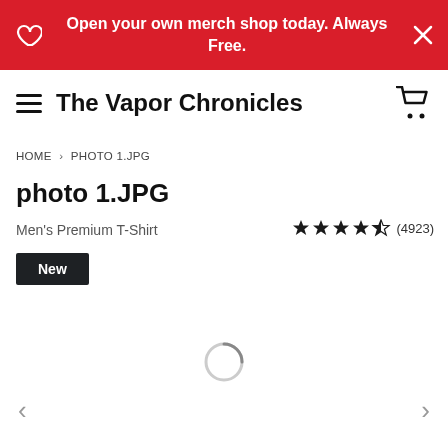Open your own merch shop today. Always Free.
The Vapor Chronicles
HOME > PHOTO 1.JPG
photo 1.JPG
Men's Premium T-Shirt  ★★★★½ (4923)
New